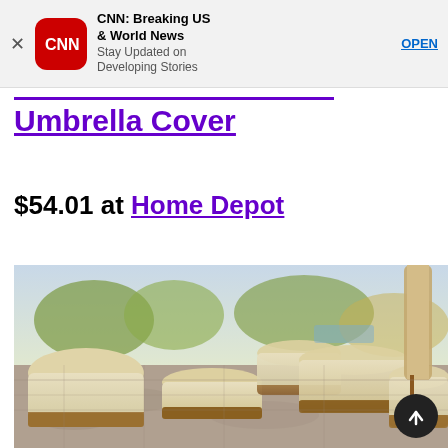[Figure (screenshot): CNN app advertisement banner with CNN logo, title 'CNN: Breaking US & World News', subtitle 'Stay Updated on Developing Stories', and OPEN button]
Umbrella Cover
$54.01 at Home Depot
[Figure (photo): Patio furniture covered with beige and brown waterproof protective covers on a stone patio, with trees and water visible in the background. An umbrella cover is visible on the right side.]